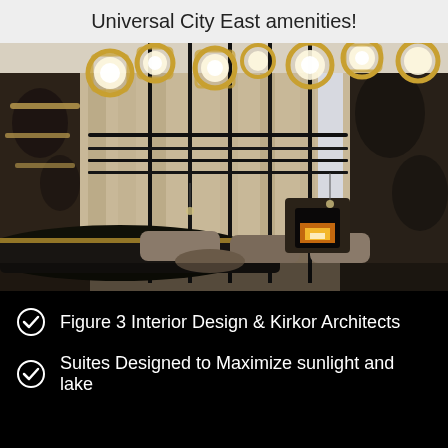Universal City East amenities!
[Figure (photo): Luxury lobby interior rendering showing a double-height space with gold circular pendant lights, black vertical rod chandelier/sculpture, beige curtains, seating area with fireplace, and abstract wall art. Designed by Figure 3 Interior Design & Kirkor Architects.]
Figure 3 Interior Design & Kirkor Architects
Suites Designed to Maximize sunlight and lake